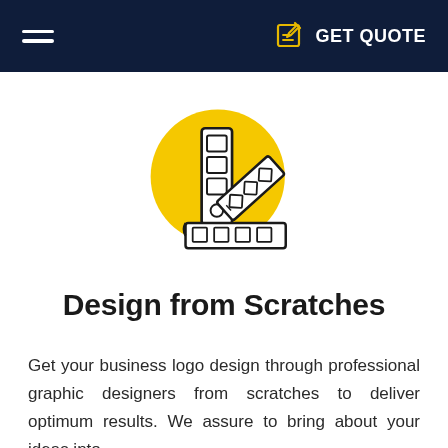GET QUOTE
[Figure (illustration): Yellow circle background with a design/color swatch palette and ruler icon in dark outline style]
Design from Scratches
Get your business logo design through professional graphic designers from scratches to deliver optimum results. We assure to bring about your ideas into